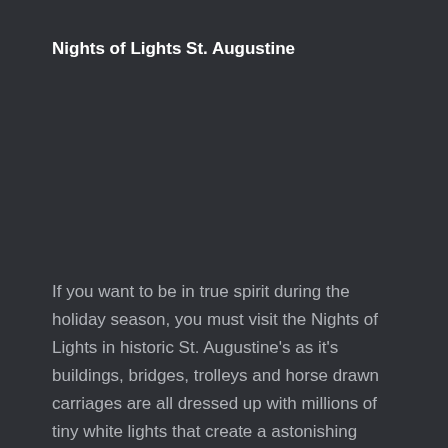Nights of Lights St. Augustine
If you want to be in true spirit during the holiday season, you must visit the Nights of Lights in historic St. Augustine's as it's buildings, bridges, trolleys and horse drawn carriages are all dressed up with millions of tiny white lights that create a astonishing